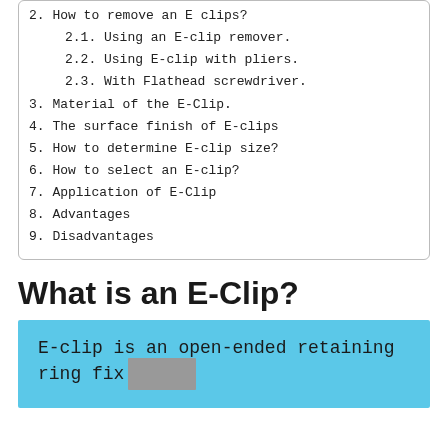2. How to remove an E clips?
2.1. Using an E-clip remover.
2.2. Using E-clip with pliers.
2.3. With Flathead screwdriver.
3. Material of the E-Clip.
4. The surface finish of E-clips
5. How to determine E-clip size?
6. How to select an E-clip?
7. Application of E-Clip
8. Advantages
9. Disadvantages
What is an E-Clip?
E-clip is an open-ended retaining ring fix